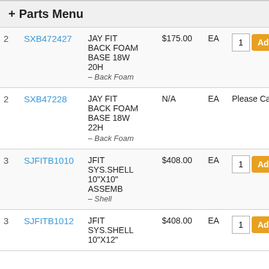+ Parts Menu
| # | Part# | Description | Price | Unit | Action |
| --- | --- | --- | --- | --- | --- |
| 2 | SXB472427 | JAY FIT BACK FOAM BASE 18W 20H – Back Foam | $175.00 | EA | 1 Add |
| 2 | SXB47228 | JAY FIT BACK FOAM BASE 18W 22H – Back Foam | N/A | EA | Please Call |
| 3 | SJFITB1010 | JFIT SYS.SHELL 10"X10" ASSEMB – Shell | $408.00 | EA | 1 Add |
| 3 | SJFITB1012 | JFIT SYS.SHELL 10"X12" | $408.00 | EA | 1 Add |